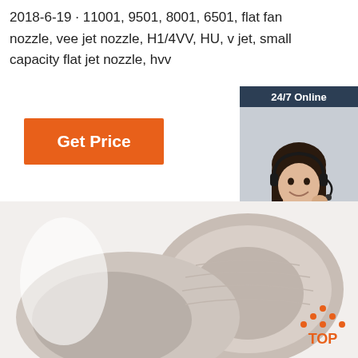2018-6-19 · 11001, 9501, 8001, 6501, flat fan nozzle, vee jet nozzle, H1/4VV, HU, v jet, small capacity flat jet nozzle, hvv
[Figure (other): Get Price orange button]
[Figure (other): 24/7 Online chat widget with support agent photo, 'Click here for free chat!' text, and orange QUOTATION button]
[Figure (photo): Product photo showing beige/taupe colored ceramic or plastic bowl-shaped objects stacked together on a light background, with TOP badge logo in bottom right]